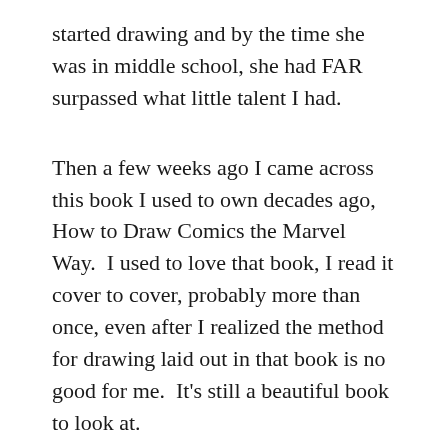started drawing and by the time she was in middle school, she had FAR surpassed what little talent I had.
Then a few weeks ago I came across this book I used to own decades ago, How to Draw Comics the Marvel Way.  I used to love that book, I read it cover to cover, probably more than once, even after I realized the method for drawing laid out in that book is no good for me.  It's still a beautiful book to look at.
...it all la d t t...